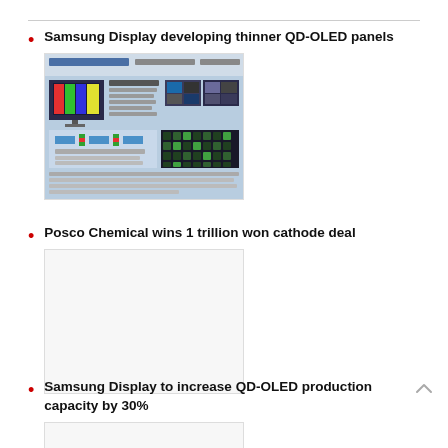Samsung Display developing thinner QD-OLED panels
[Figure (photo): Photo showing QD-OLED display technology panel presentation with color test patterns, diagrams, and microscope images]
Posco Chemical wins 1 trillion won cathode deal
[Figure (photo): Blank/white image placeholder for Posco Chemical article]
Samsung Display to increase QD-OLED production capacity by 30%
[Figure (photo): Blank/white image placeholder for Samsung Display production article]